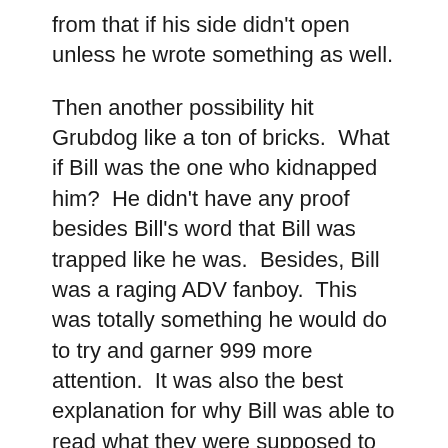from that if his side didn't open unless he wrote something as well.
Then another possibility hit Grubdog like a ton of bricks.  What if Bill was the one who kidnapped him?  He didn't have any proof besides Bill's word that Bill was trapped like he was.  Besides, Bill was a raging ADV fanboy.  This was totally something he would do to try and garner 999 more attention.  It was also the best explanation for why Bill was able to read what they were supposed to do so easily.
Wait.  No. Grubdog stopped, taking a deep breath.  I can't let my suspicions get the better of me.  The lack of evidence is not evidence, so we should work together to get this done and over with.  I can trust Bill wouldn't do